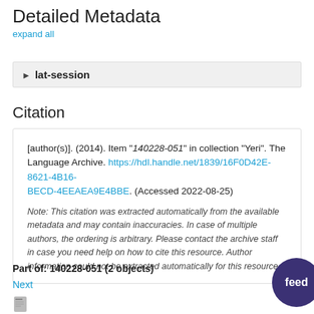Detailed Metadata
expand all
lat-session
Citation
[author(s)]. (2014). Item "140228-051" in collection "Yeri". The Language Archive. https://hdl.handle.net/1839/16F0D42E-8621-4B16-BECD-4EEAEA9E4BBE. (Accessed 2022-08-25)
Note: This citation was extracted automatically from the available metadata and may contain inaccuracies. In case of multiple authors, the ordering is arbitrary. Please contact the archive staff in case you need help on how to cite this resource. Author information could not be extracted automatically for this resource.
Part of: 140228-051 (2 objects)
Next